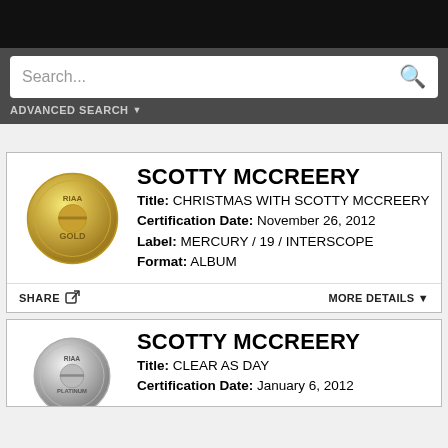[Figure (screenshot): Black top navigation bar of a mobile app]
Search...
ADVANCED SEARCH ▼
[Figure (logo): RIAA Gold certification badge - gold circular medallion]
SCOTTY MCCREERY
Title: CHRISTMAS WITH SCOTTY MCCREERY
Certification Date: November 26, 2012
Label: MERCURY / 19 / INTERSCOPE
Format: ALBUM
SHARE
MORE DETAILS ▼
[Figure (logo): RIAA Platinum certification badge - silver/platinum circular medallion]
SCOTTY MCCREERY
Title: CLEAR AS DAY
Certification Date: January 6, 2012